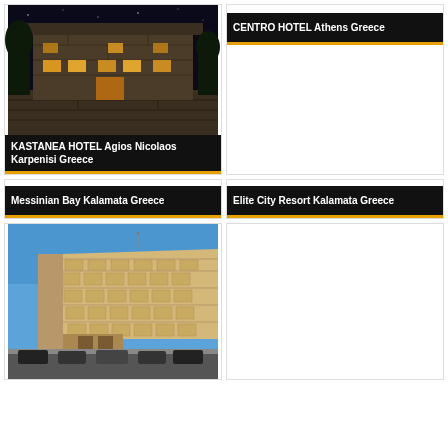[Figure (photo): KASTANEA HOTEL - stone building at night with warm interior lighting, Agios Nicolaos Karpenisi Greece]
KASTANEA HOTEL Agios Nicolaos Karpenisi Greece
[Figure (photo): CENTRO HOTEL Athens Greece - placeholder/blank image area with label only]
CENTRO HOTEL Athens Greece
Messinian Bay Kalamata Greece
Elite City Resort Kalamata Greece
[Figure (photo): Multi-storey hotel building with balconies, beige/cream facade, blue sky, cars parked in front - Kalamata Greece]